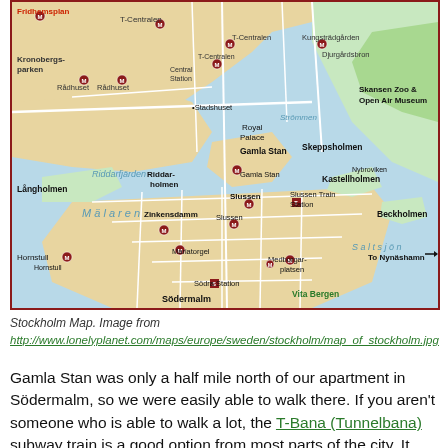[Figure (map): Map of Stockholm showing major neighborhoods, metro stations, landmarks including Gamla Stan, Södermalm, T-Centralen, Skansen Zoo & Open Air Museum, Royal Palace, Riddarfjärden, Mälaren, Saltsjön, and transport links to Nynäshamn.]
Stockholm Map. Image from http://www.lonelyplanet.com/maps/europe/sweden/stockholm/map_of_stockholm.jpg
Gamla Stan was only a half mile north of our apartment in Södermalm, so we were easily able to walk there. If you aren't someone who is able to walk a lot, the T-Bana (Tunnelbana) subway train is a good option from most parts of the city. It can get pricey for single-use tickets, however at $5.00 USD per